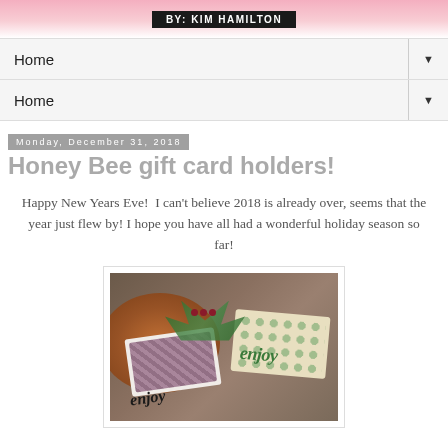BY: KIM HAMILTON
Home ▼
Home ▼
Monday, December 31, 2018
Honey Bee gift card holders!
Happy New Years Eve!  I can't believe 2018 is already over, seems that the year just flew by! I hope you have all had a wonderful holiday season so far!
[Figure (photo): Photo of decorative gift card holders with 'enjoy' script text, placed on a wooden platter with greenery and berries.]